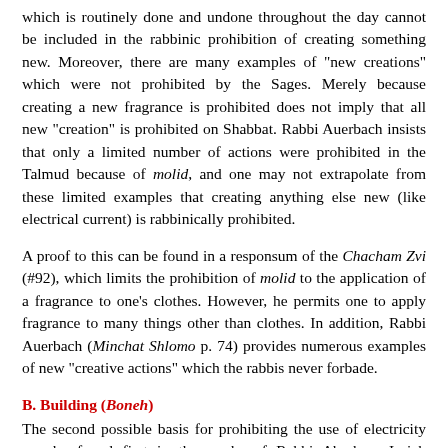which is routinely done and undone throughout the day cannot be included in the rabbinic prohibition of creating something new. Moreover, there are many examples of "new creations" which were not prohibited by the Sages. Merely because creating a new fragrance is prohibited does not imply that all new "creation" is prohibited on Shabbat. Rabbi Auerbach insists that only a limited number of actions were prohibited in the Talmud because of molid, and one may not extrapolate from these limited examples that creating anything else new (like electrical current) is rabbinically prohibited.
A proof to this can be found in a responsum of the Chacham Zvi (#92), which limits the prohibition of molid to the application of a fragrance to one's clothes. However, he permits one to apply fragrance to many things other than clothes. In addition, Rabbi Auerbach (Minchat Shlomo p. 74) provides numerous examples of new "creative actions" which the rabbis never forbade.
B. Building (Boneh)
The second possible basis for prohibiting the use of electricity can be found first in the works of Rabbi Abraham Isaiah Karelitz, commonly referred to by the name of his magnum opus, Chazon Ish.23 He states that it is likely that completion of a live circuit constitutes a forbidden act of building (boneh) on Shabbat. He reasons that completing a circuit renders a previously useless wire